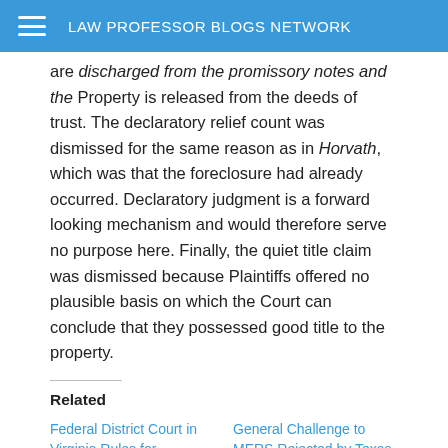LAW PROFESSOR BLOGS NETWORK
are discharged from the promissory notes and the Property is released from the deeds of trust. The declaratory relief count was dismissed for the same reason as in Horvath, which was that the foreclosure had already occurred. Declaratory judgment is a forward looking mechanism and would therefore serve no purpose here. Finally, the quiet title claim was dismissed because Plaintiffs offered no plausible basis on which the Court can conclude that they possessed good title to the property.
Related
Federal District Court in Virginia Rules for Lenders/MERS in Foreclosure Case
February 12, 2013
General Challenge to MERS Rejected by Texas Federal District Court
January 10, 2013
In "2012"